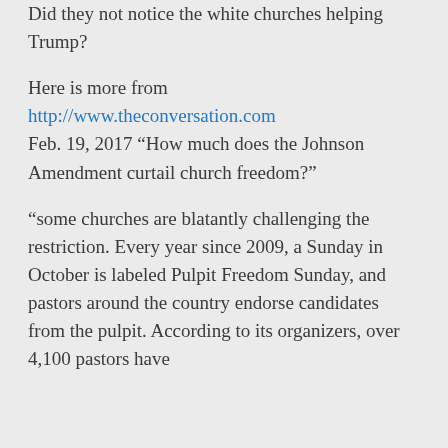Did they not notice the white churches helping Trump?
Here is more from http://www.theconversation.com Feb. 19, 2017 “How much does the Johnson Amendment curtail church freedom?”
“some churches are blatantly challenging the restriction. Every year since 2009, a Sunday in October is labeled Pulpit Freedom Sunday, and pastors around the country endorse candidates from the pulpit. According to its organizers, over 4,100 pastors have